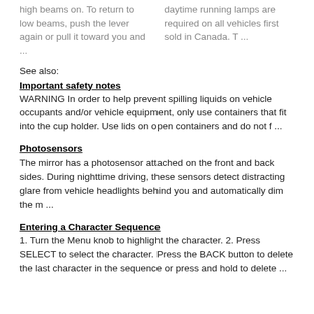high beams on. To return to low beams, push the lever again or pull it toward you and ...
daytime running lamps are required on all vehicles first sold in Canada. T ...
See also:
Important safety notes
WARNING In order to help prevent spilling liquids on vehicle occupants and/or vehicle equipment, only use containers that fit into the cup holder. Use lids on open containers and do not f ...
Photosensors
The mirror has a photosensor attached on the front and back sides. During nighttime driving, these sensors detect distracting glare from vehicle headlights behind you and automatically dim the m ...
Entering a Character Sequence
1. Turn the Menu knob to highlight the character. 2. Press SELECT to select the character. Press the BACK button to delete the last character in the sequence or press and hold to delete ...